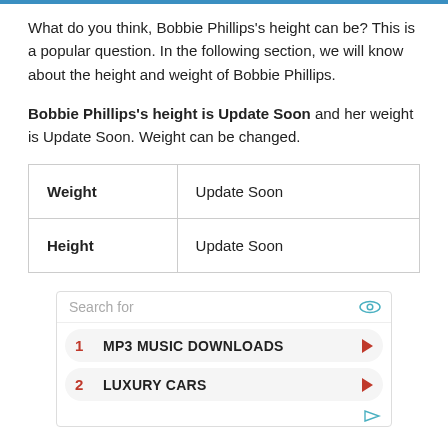What do you think, Bobbie Phillips's height can be? This is a popular question. In the following section, we will know about the height and weight of Bobbie Phillips.
Bobbie Phillips's height is Update Soon and her weight is Update Soon. Weight can be changed.
| Weight | Update Soon |
| Height | Update Soon |
[Figure (other): Advertisement box with search bar and two list items: 1. MP3 MUSIC DOWNLOADS, 2. LUXURY CARS, with red arrows and an eye icon]